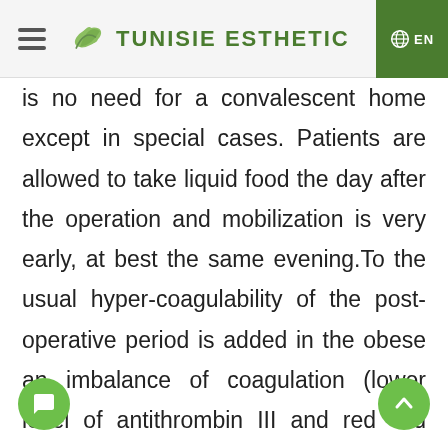TUNISIE ESTHETIC — EN
is no need for a convalescent home except in special cases. Patients are allowed to take liquid food the day after the operation and mobilization is very early, at best the same evening.To the usual hyper-coagulability of the post-operative period is added in the obese an imbalance of coagulation (lower level of antithrombin III and reduced fibrinolytic activity). These are subjects at high